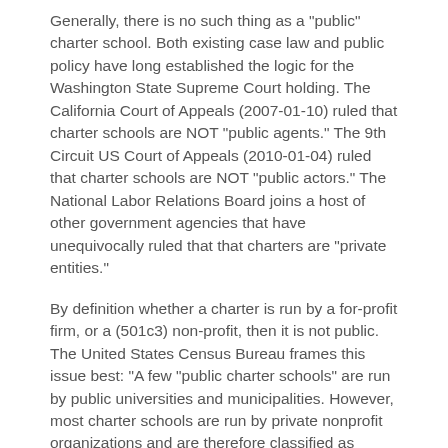Generally, there is no such thing as a "public" charter school. Both existing case law and public policy have long established the logic for the Washington State Supreme Court holding. The California Court of Appeals (2007-01-10) ruled that charter schools are NOT "public agents." The 9th Circuit US Court of Appeals (2010-01-04) ruled that charter schools are NOT "public actors." The National Labor Relations Board joins a host of other government agencies that have unequivocally ruled that that charters are "private entities."
By definition whether a charter is run by a for-profit firm, or a (501c3) non-profit, then it is not public. The United States Census Bureau frames this issue best: "A few "public charter schools" are run by public universities and municipalities. However, most charter schools are run by private nonprofit organizations and are therefore classified as private." (US Census Bureau.